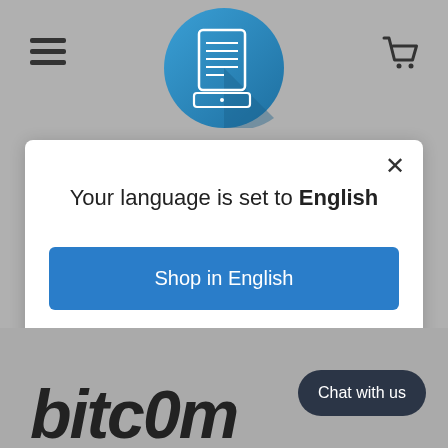[Figure (screenshot): Website header with hamburger menu icon on left, circular blue logo with document icon in center, and shopping cart icon on right, on a gray background]
Your language is set to English
Shop in English
Change language
[Figure (screenshot): Bottom of webpage showing italic bold 'bitcoin' text and a dark 'Chat with us' button in the lower right]